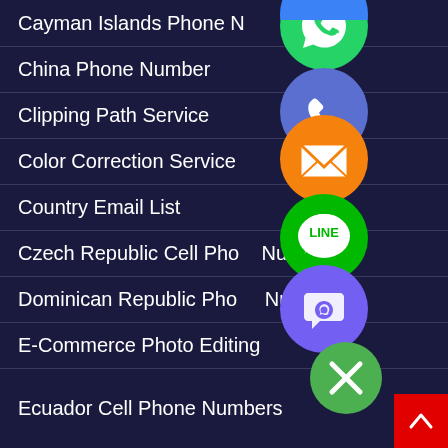Cayman Islands Phone Number
China Phone Number
Clipping Path Service
Color Correction Service
Country Email List
Czech Republic Cell Phone Numbers
Dominican Republic Phone Numbers
E-Commerce Photo Editing
Ecuador Cell Phone Numbers
[Figure (illustration): WhatsApp green circle icon overlapping Cayman Islands and China rows]
[Figure (illustration): Blue phone call circle icon overlapping Clipping Path Service row]
[Figure (illustration): Orange email envelope circle icon overlapping Color Correction Service row]
[Figure (illustration): Green LINE app circle icon overlapping Czech Republic row]
[Figure (illustration): Purple Viber circle icon overlapping Dominican Republic row]
[Figure (illustration): Green close/X circle icon overlapping E-Commerce row]